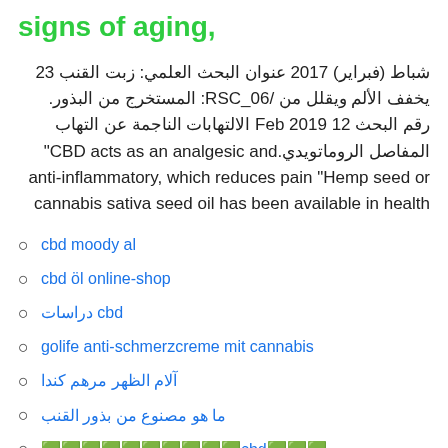signs of aging,
شباط (فبراير) 2017 عنوان البحث العلمي: زبت القنب 23 يخفف الألم ويقلل من /RSC_06: المستخرج من البذور. رقم البحث 12 Feb 2019 الالتهابات الناجمة عن التهاب المفاصل الروماتويدي. "CBD acts as an analgesic and anti-inflammatory, which reduces pain "Hemp seed or cannabis sativa seed oil has been available in health
cbd moody al
cbd öl online-shop
دراسات cbd
golife anti-schmerzcreme mit cannabis
آلام الظهر مرهم كندا
ما هو مصنوع من بذور القنب
🟩🟩🟩🟩🟩🟩🟩🟩🟩🟩cbd🟩🟩🟩
rkjqorf
rkjqorf
rkjqorf